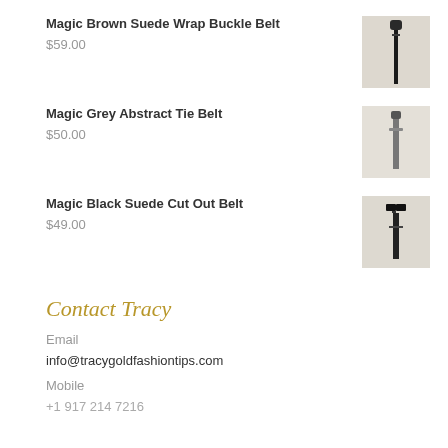Magic Brown Suede Wrap Buckle Belt
$59.00
[Figure (photo): Product photo of Magic Brown Suede Wrap Buckle Belt, showing a dark brown belt hanging on a wall hook]
Magic Grey Abstract Tie Belt
$50.00
[Figure (photo): Product photo of Magic Grey Abstract Tie Belt, showing a grey belt with abstract design on a wall hook]
Magic Black Suede Cut Out Belt
$49.00
[Figure (photo): Product photo of Magic Black Suede Cut Out Belt, showing a black suede belt with cut out detail on a wall hook]
Contact Tracy
Email
info@tracygoldfashiontips.com
Mobile
+1 917 214 7216